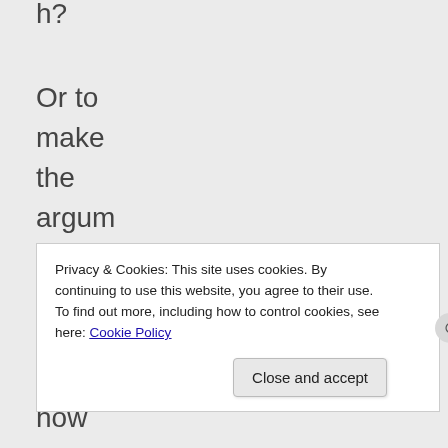h? Or to make the argument even broader, how
Privacy & Cookies: This site uses cookies. By continuing to use this website, you agree to their use. To find out more, including how to control cookies, see here: Cookie Policy
Close and accept